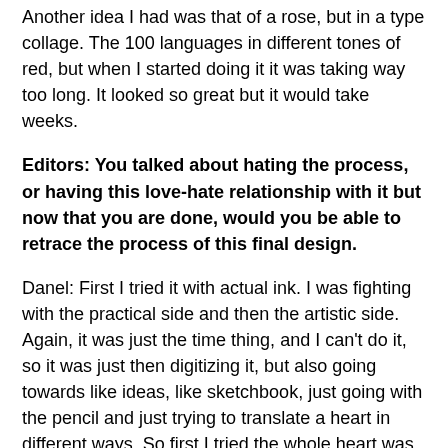Another idea I had was that of a rose, but in a type collage. The 100 languages in different tones of red, but when I started doing it it was taking way too long. It looked so great but it would take weeks.
Editors: You talked about hating the process, or having this love-hate relationship with it but now that you are done, would you be able to retrace the process of this final design.
Danel: First I tried it with actual ink. I was fighting with the practical side and then the artistic side. Again, it was just the time thing, and I can't do it, so it was just then digitizing it, but also going towards like ideas, like sketchbook, just going with the pencil and just trying to translate a heart in different ways. So first I tried the whole heart was in ink, was mainly like a shadow of ink … it was getting forth that idea of sketching things out. I was trying to bridge the idea of accidental creativity and actual purposeful creativity so if I had use the ink splatter heart it would have been more like "oh,